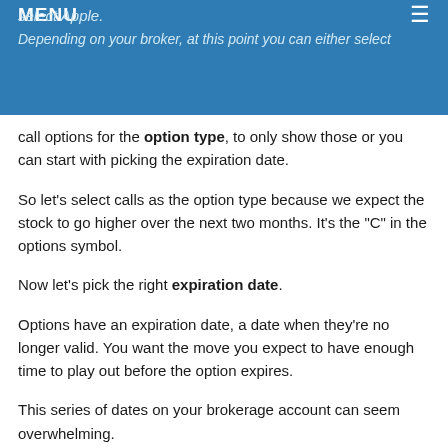select Apple.
MENU
Depending on your broker, at this point you can either select
call options for the option type, to only show those or you can start with picking the expiration date.
So let’s select calls as the option type because we expect the stock to go higher over the next two months. It’s the “C” in the options symbol.
Now let’s pick the right expiration date.
Options have an expiration date, a date when they’re no longer valid. You want the move you expect to have enough time to play out before the option expires.
This series of dates on your brokerage account can seem overwhelming.
The goal here is to ignore almost all of them.